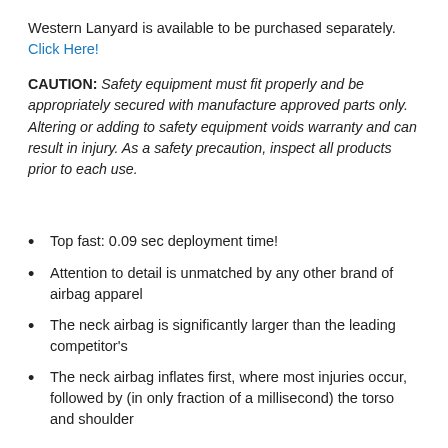Western Lanyard is available to be purchased separately. Click Here!
CAUTION: Safety equipment must fit properly and be appropriately secured with manufacture approved parts only. Altering or adding to safety equipment voids warranty and can result in injury. As a safety precaution, inspect all products prior to each use.
Top fast: 0.09 sec deployment time!
Attention to detail is unmatched by any other brand of airbag apparel
The neck airbag is significantly larger than the leading competitor's
The neck airbag inflates first, where most injuries occur, followed by (in only fraction of a millisecond) the torso and shoulder